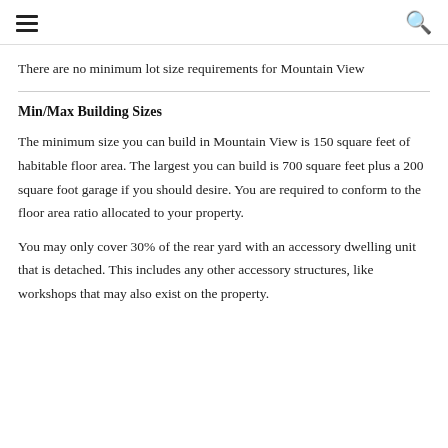≡  🔍
There are no minimum lot size requirements for Mountain View
Min/Max Building Sizes
The minimum size you can build in Mountain View is 150 square feet of habitable floor area. The largest you can build is 700 square feet plus a 200 square foot garage if you should desire. You are required to conform to the floor area ratio allocated to your property.
You may only cover 30% of the rear yard with an accessory dwelling unit that is detached. This includes any other accessory structures, like workshops that may also exist on the property.